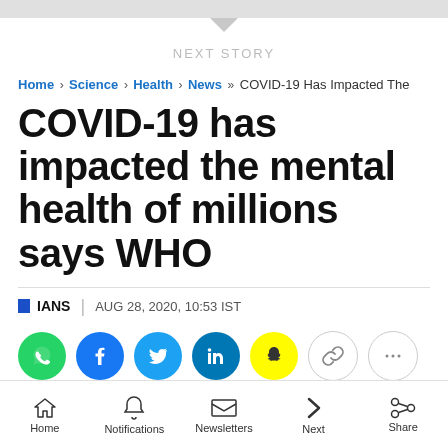NEXT STORY
Home › Science › Health › News »» COVID-19 Has Impacted The
COVID-19 has impacted the mental health of millions says WHO
IANS | AUG 28, 2020, 10:53 IST
[Figure (infographic): Social sharing icons row: WhatsApp (green), Facebook (blue), Twitter (light blue), LinkedIn (dark blue), Snapchat (yellow), Link (white/gray), More (white/gray with dots)]
Home | Notifications | Newsletters | Next | Share